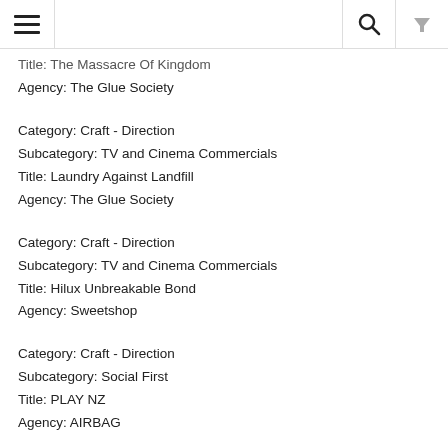Title: The Massacre Of Kingdom
Agency: The Glue Society
Category: Craft - Direction
Subcategory: TV and Cinema Commercials
Title: Laundry Against Landfill
Agency: The Glue Society
Category: Craft - Direction
Subcategory: TV and Cinema Commercials
Title: Hilux Unbreakable Bond
Agency: Sweetshop
Category: Craft - Direction
Subcategory: Social First
Title: PLAY NZ
Agency: AIRBAG